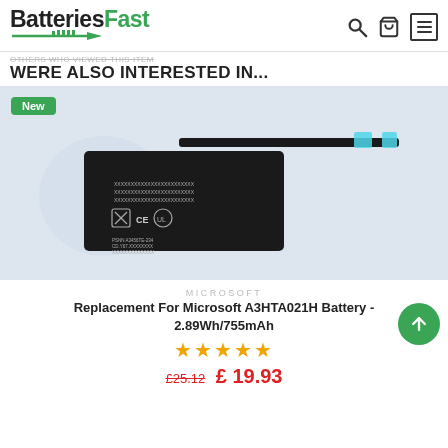BatteriesFast
OTHERS WHO VIEWED THIS ITEM WERE ALSO INTERESTED IN...
[Figure (photo): Product photo of a Microsoft A3HTA021H replacement battery — a thin black rectangular battery with a long black flexible connector cable and blue adhesive strips. Displayed on a light blue/grey background. 'New' badge in top-left corner.]
MICROSOFT
Replacement For Microsoft A3HTA021H Battery - 2.89Wh/755mAh
★★★★★
£25.12  £ 19.93